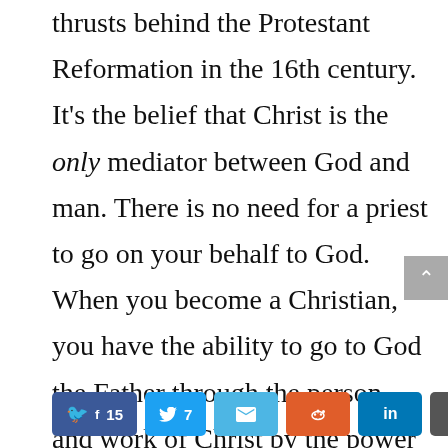thrusts behind the Protestant Reformation in the 16th century. It's the belief that Christ is the only mediator between God and man. There is no need for a priest to go on your behalf to God. When you become a Christian, you have the ability to go to God the Father through the person and work of Christ by the power of the Holy Spirit.
Facebook 15 | Twitter 7 | Email | Reddit | LinkedIn | More